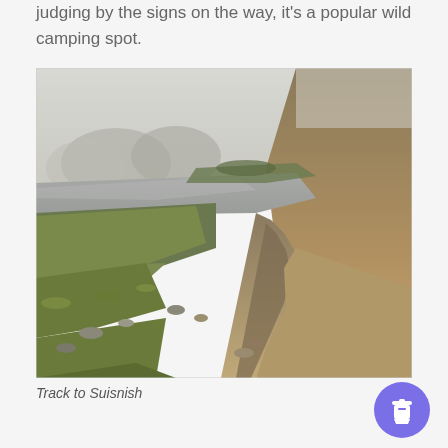judging by the signs on the way, it's a popular wild camping spot.
[Figure (photo): A gravel track winding through moorland with a loch and misty mountains in the background. The path runs through green and brown highland terrain on the Isle of Skye, leading toward Suisnish.]
Track to Suisnish